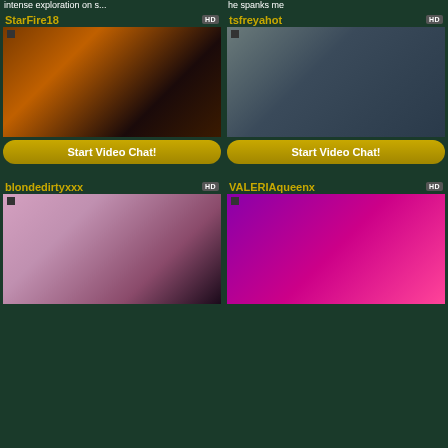intense exploration on s...
he spanks me
StarFire18
[Figure (photo): Woman with orange hair in black lace bodysuit posing on bed]
Start Video Chat!
tsfreyahot
[Figure (photo): Woman in black lace bodysuit with red floral detail posing on bed]
Start Video Chat!
blondedirtyxxx
[Figure (photo): Blonde woman posing with large stuffed teddy bear]
VALERIAqueenx
[Figure (photo): Dark-haired woman in pink outfit posing against purple and yellow background]